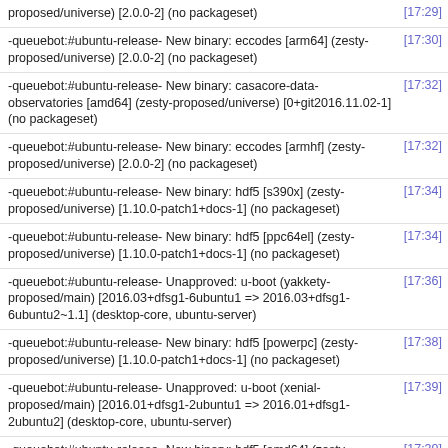proposed/universe) [2.0.0-2] (no packageset)
-queuebot:#ubuntu-release- New binary: eccodes [arm64] (zesty-proposed/universe) [2.0.0-2] (no packageset)
-queuebot:#ubuntu-release- New binary: casacore-data-observatories [amd64] (zesty-proposed/universe) [0+git2016.11.02-1] (no packageset)
-queuebot:#ubuntu-release- New binary: eccodes [armhf] (zesty-proposed/universe) [2.0.0-2] (no packageset)
-queuebot:#ubuntu-release- New binary: hdf5 [s390x] (zesty-proposed/universe) [1.10.0-patch1+docs-1] (no packageset)
-queuebot:#ubuntu-release- New binary: hdf5 [ppc64el] (zesty-proposed/universe) [1.10.0-patch1+docs-1] (no packageset)
-queuebot:#ubuntu-release- Unapproved: u-boot (yakkety-proposed/main) [2016.03+dfsg1-6ubuntu1 => 2016.03+dfsg1-6ubuntu2~1.1] (desktop-core, ubuntu-server)
-queuebot:#ubuntu-release- New binary: hdf5 [powerpc] (zesty-proposed/universe) [1.10.0-patch1+docs-1] (no packageset)
-queuebot:#ubuntu-release- Unapproved: u-boot (xenial-proposed/main) [2016.01+dfsg1-2ubuntu1 => 2016.01+dfsg1-2ubuntu2] (desktop-core, ubuntu-server)
-queuebot:#ubuntu-release- New binary: hdf5 [amd64] (zesty-proposed/universe) [1.10.0-patch1+docs-1] (no packageset)
-queuebot:#ubuntu-release- New binary: xdmf [s390x] (zesty-proposed/universe) [3.0+git20160803-1] (no packageset)
-queuebot:#ubuntu-release- New binary: xdmf [ppc64el] (zesty-